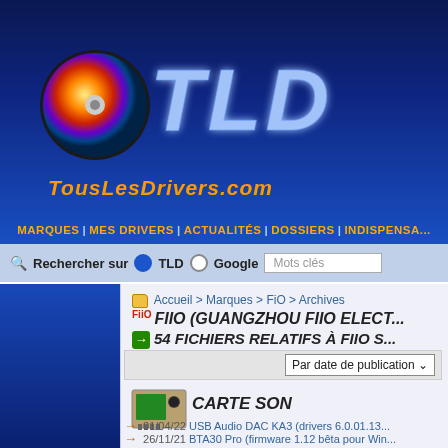[Figure (logo): TousLesDrivers.com logo with CD/DVD disc image and TLD stylized text in blue glow on dark blue background, with orange italic site name below]
MARQUES | MES DRIVERS | ACTUALITÉS | DOSSIERS | INDISPENSA...
Rechercher sur  TLD  Google  Mots clés
Accueil > Marques > FiO > Archives
FIIO (GUANGZHOU FIIO ELECT...
54 FICHIERS RELATIFS À FIIO S...
Par date de publication
[Figure (photo): Sound card / carte son hardware photo thumbnail]
CARTE SON
01/04/22 USB Audio DAC KA3 (drivers 6.0.01.13...
26/11/21 BTA30 Pro (firmware 1.12 bêta pour Win...
18/10/21 USB Audio DAC KA3 (drivers 6.0.0.49...